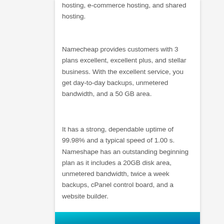hosting, e-commerce hosting, and shared hosting.
Namecheap provides customers with 3 plans excellent, excellent plus, and stellar business. With the excellent service, you get day-to-day backups, unmetered bandwidth, and a 50 GB area.
It has a strong, dependable uptime of 99.98% and a typical speed of 1.00 s. Nameshape has an outstanding beginning plan as it includes a 20GB disk area, unmetered bandwidth, twice a week backups, cPanel control board, and a website builder.
[Figure (illustration): Teal/cyan gradient decorative bar at the bottom of the page]